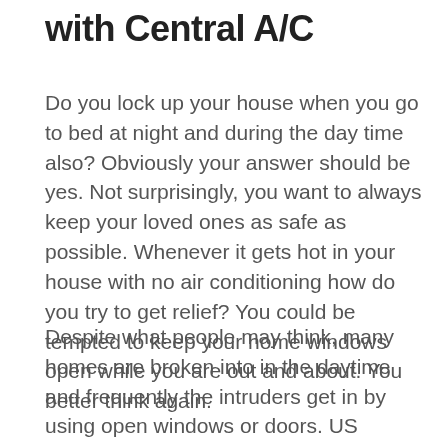with Central A/C
Do you lock up your house when you go to bed at night and during the day time also? Obviously your answer should be yes. Not surprisingly, you want to always keep your loved ones as safe as possible. Whenever it gets hot in your house with no air conditioning how do you try to get relief? You could be tempted to keep your home windows open while you are out and about. You better think again.
Despite what people may think, many homes are broken into in the daytime and frequently the intruders get in by using open windows or doors. US Justice Department statistics demonstrate that during summer time